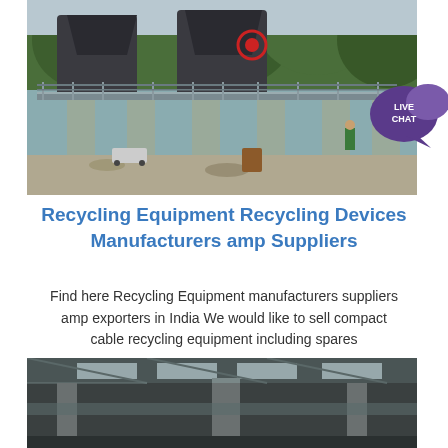[Figure (photo): Outdoor industrial recycling/crushing machinery on concrete pillars, with trees and construction site in background, live chat bubble overlay in top right]
Recycling Equipment Recycling Devices Manufacturers amp Suppliers
Find here Recycling Equipment manufacturers suppliers amp exporters in India We would like to sell compact cable recycling equipment including spares
[Figure (photo): Interior of an industrial warehouse/factory building with steel roof structure and large cylindrical pipes/columns]